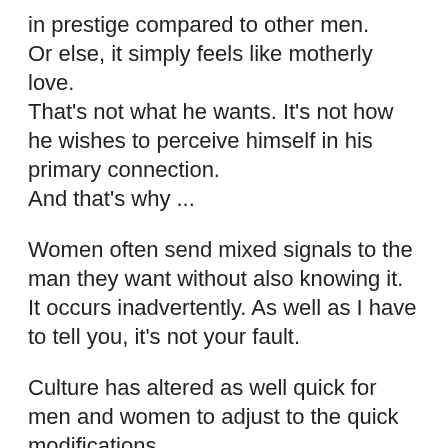in prestige compared to other men.
Or else, it simply feels like motherly love.
That's not what he wants. It's not how he wishes to perceive himself in his primary connection.
And that's why ...
Women often send mixed signals to the man they want without also knowing it.
It occurs inadvertently. As well as I have to tell you, it's not your fault.
Culture has altered as well quick for men and women to adjust to the quick modifications.
We are left scrambling.
In almost every culture there utilized to be a clear set of assumptions. Those expectations